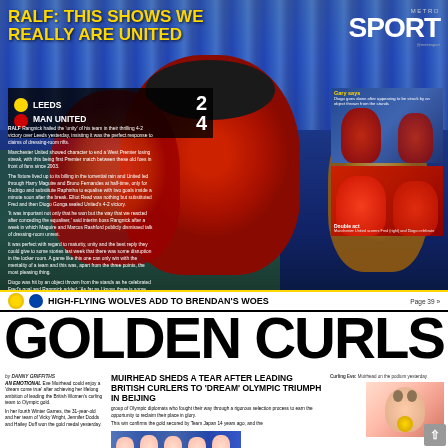METRO SPORT
RALF: THIS SHOWS WE REALLY ARE UNITED
LEEDS 2 MAN UNITED 4
RALF Rangnick hailed the 'unity' of his team in their thrilling 4-2 victory over Leeds yesterday, insisting it was the perfect response to claims of dressing-room rifts. Manchester United showed character to end a Leeds Rightmove losing streak, with West Prem's victory in this match between these old two in front of fans since 2003. The fixture lived up to its billing in the torrential rain and United led through Harry Maguire and Bruno Fernandes at half-time, only for Rodrigo and substitute Raphinha to equalise with two goals inside a minute soon after the break. Elliot Read was nothing but substituted Fred and then Diogo Gonga sealed United's 4-2 victory. 'It was important not only that he won but the way that we reacted after considering the equaliser,' said interim boss Rangnick after a week in which Maguire and Marcus Rashford publicly dismissed talk of dressing-room unrest. It was perfect with regard to maturity, unity and the best reply they could give to some stories last week that there was some disruption in the locker room. A game like this one can only win with the mentality of a team and this was, apart from the three points, the most pleasing thing. Diogo was hit by an object thrown from the stands as he celebrated Fred's goal and Rangnick added: 'As far as I know, there is some investigation going on from Leeds United. Things like that should not happen.'
United's cup treble: Page 38
Gary says: Diogo goes down after appearing to be struck by an object thrown from the stands
Double act: Manchester United scorers Fred (right) and Diogo celebrate
HIGH-FLYING WOLVES ADD TO BRENDAN'S WOES Page 39
GOLDEN CURLS!
by DANNY GRIFFITHS
AN EMOTIONAL Eve Muirhead could enjoy a 'dream come true' after achieving her lifelong ambition of leading the British Women's curling team to Olympic gold. In her fourth Winter Games, the 31-year-old and her team of Vicky Wright, Jennifer Dodds and Hailey Duff won the gold medal yesterday...
MUIRHEAD SHEDS A TEAR AFTER LEADING BRITISH CURLERS TO 'DREAM' OLYMPIC TRIUMPH IN BEIJING
group of Olympic diplomats who fought their way through a rigorous selection process to earn the opportunity to reclaim their place in glory. This win confirms the gold secured by Team Japan 14 years...
Curling Eve: Muirhead on the podium yesterday